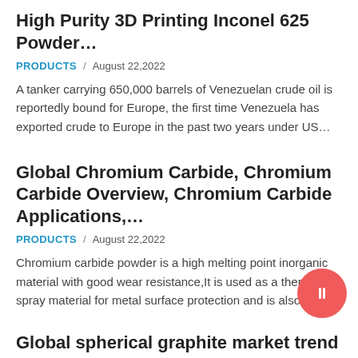High Purity 3D Printing Inconel 625 Powder…
PRODUCTS / August 22,2022
A tanker carrying 650,000 barrels of Venezuelan crude oil is reportedly bound for Europe, the first time Venezuela has exported crude to Europe in the past two years under US…
Global Chromium Carbide, Chromium Carbide Overview, Chromium Carbide Applications,…
PRODUCTS / August 22,2022
Chromium carbide powder is a high melting point inorganic material with good wear resistance,It is used as a thermal spray material for metal surface protection and is also often
Global spherical graphite market trend 2025-